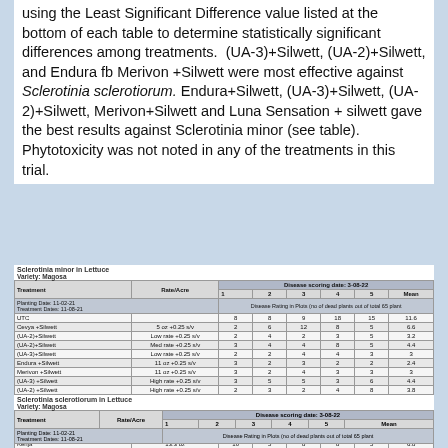using the Least Significant Difference value listed at the bottom of each table to determine statistically significant differences among treatments. (UA-3)+Silwett, (UA-2)+Silwett, and Endura fb Merivon +Silwett were most effective against Sclerotinia sclerotiorum. Endura+Silwett, (UA-3)+Silwett, (UA-2)+Silwett, Merivon+Silwett and Luna Sensation + silwett gave the best results against Sclerotinia minor (see table). Phytotoxicity was not noted in any of the treatments in this trial.
| Treatment | Rate/Acre | 1 | 2 | 3 | 4 | 5 | Mean |
| --- | --- | --- | --- | --- | --- | --- | --- |
| UTC |  | 8 | 8 | 9 | 18 | 15 | 11.6 |
| Cevya +Silwett | 5 oz +0.25 s/v | 2 | 6 | 12 | 8 | 5 | 6.6 |
| (UA-2)+Silwett | Low rate +0.25 s/v | 2 | 4 | 2 | 3 | 5 | 3.2 |
| (UA-2)+Silwett | Med rate +0.25 s/v | 3 | 4 | 4 | 8 | 5 | 4.4 |
| (UA-3)+Silwett | Low rate +0.25 s/v | 2 | 2 | 4 | 4 | 3 | 3 |
| Endura +Silwett | 11 oz +0.25 s/v | 3 | 2 | 3 | 2 | 2 | 2.4 |
| Merivon +Silwett | 11 oz +0.25 s/v | 3 | 2 | 4 | 3 | 3 | 3 |
| (UA-3) +Silwett | High rate +0.25 s/v | 3 | 5 | 5 | 3 | 6 | 4.4 |
| (UA-2) +Silwett | High rate +0.25 s/v | 2 | 3 | 2 | 4 | 8 | 3.8 |
| Endura fb Merivon +Silwett | 11 oz +0.25 s/v | 2 | 2 | 4 | 4 | 5 | 3.4 |
| Triflum | 32 oz/100 gal | 2 | 5 | 7 | 10 | 11 | 7 |
| Triflum | 64 oz/100 gal | 8 | 4 | 3 | 8 | 10 | 5.6 |
| Luna Sensation + NIS | 7.6 oz +0.25 s/v | 2 | 3 | 4 | 3 | 4 | 3.2 |
| Botran 5F | 3.2 qt | 5 | 3 | 4 | 8 | 5 | 4.6 |
| Kenja | 13.3 oz | 10 | 5 | 8 | 8 | 5 | 6.8 |
| Miravis Prime +Silwett | 13.4 +0.25 s/v | 3 | 6 | 4 | 5 | 6 | 4.8 |
| LSD ( P = 0.05) |  |  |  |  |  |  | 2.8056 |
| Treatment | Rate/Acre | 1 | 2 | 3 | 4 | 5 | Mean |
| --- | --- | --- | --- | --- | --- | --- | --- |